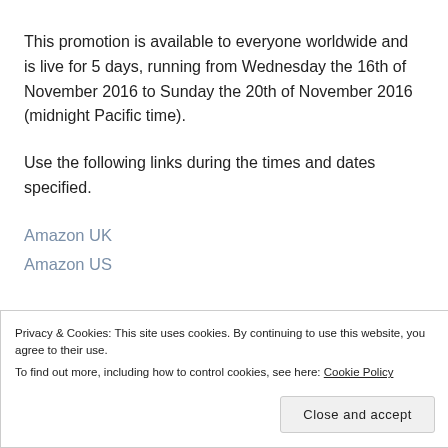This promotion is available to everyone worldwide and is live for 5 days, running from Wednesday the 16th of November 2016 to Sunday the 20th of November 2016 (midnight Pacific time).
Use the following links during the times and dates specified.
Amazon UK
Amazon US
Privacy & Cookies: This site uses cookies. By continuing to use this website, you agree to their use.
To find out more, including how to control cookies, see here: Cookie Policy
Close and accept
to use this deal through other Amazon regions, simply